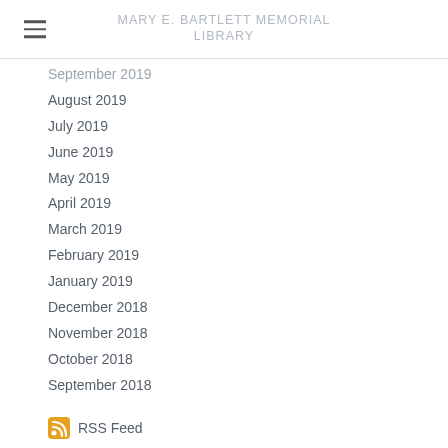MARY E. BARTLETT MEMORIAL LIBRARY
September 2019
August 2019
July 2019
June 2019
May 2019
April 2019
March 2019
February 2019
January 2019
December 2018
November 2018
October 2018
September 2018
RSS Feed